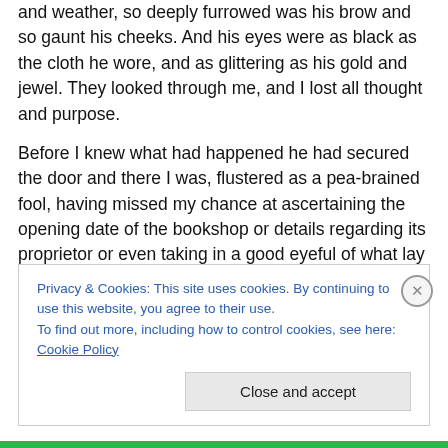and weather, so deeply furrowed was his brow and so gaunt his cheeks. And his eyes were as black as the cloth he wore, and as glittering as his gold and jewel. They looked through me, and I lost all thought and purpose.
Before I knew what had happened he had secured the door and there I was, flustered as a pea-brained fool, having missed my chance at ascertaining the opening date of the bookshop or details regarding its proprietor or even taking in a good eyeful of what lay beyond the window I'd been so persistently stalking. Of course, it was greatly his fault for not offering an introduction–or a proper
Privacy & Cookies: This site uses cookies. By continuing to use this website, you agree to their use.
To find out more, including how to control cookies, see here: Cookie Policy
Close and accept